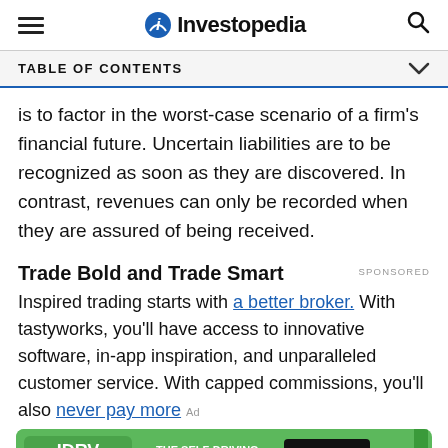Investopedia
TABLE OF CONTENTS
is to factor in the worst-case scenario of a firm's financial future. Uncertain liabilities are to be recognized as soon as they are discovered. In contrast, revenues can only be recorded when they are assured of being received.
Trade Bold and Trade Smart
Inspired trading starts with a better broker. With tastyworks, you'll have access to innovative software, in-app inspiration, and unparalleled customer service. With capped commissions, you'll also never pay more
[Figure (other): IDRV FROM iSHARES advertisement banner — THE SELF-DRIVING EV & TECH ETF — LEARN MORE — Fidelity]